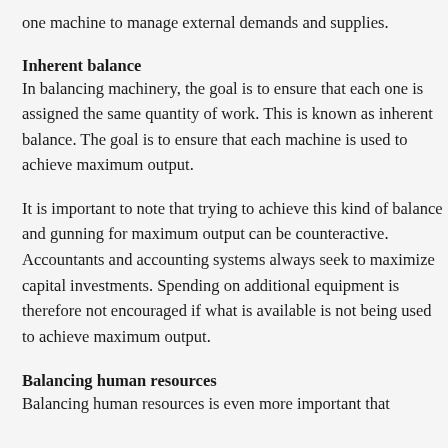one machine to manage external demands and supplies.
Inherent balance
In balancing machinery, the goal is to ensure that each one is assigned the same quantity of work. This is known as inherent balance. The goal is to ensure that each machine is used to achieve maximum output.
It is important to note that trying to achieve this kind of balance and gunning for maximum output can be counteractive. Accountants and accounting systems always seek to maximize capital investments. Spending on additional equipment is therefore not encouraged if what is available is not being used to achieve maximum output.
Balancing human resources
Balancing human resources is even more important that